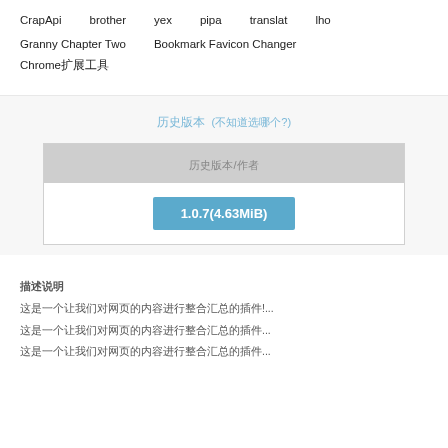CrapApi
brother
yex
pipa
translat
lho
Granny Chapter Two
Bookmark Favicon Changer
Chrome扩展工具
历史版本  (不知道选哪个?)
| 历史版本/作者 |
| --- |
| 1.0.7(4.63MiB) |
描述说明
这是一个让我们对网页的内容进行整合汇总的插件!...
这是一个让我们对网页的内容进行整合汇总的插件...
这是一个让我们对网页的内容进行整合汇总的插件...